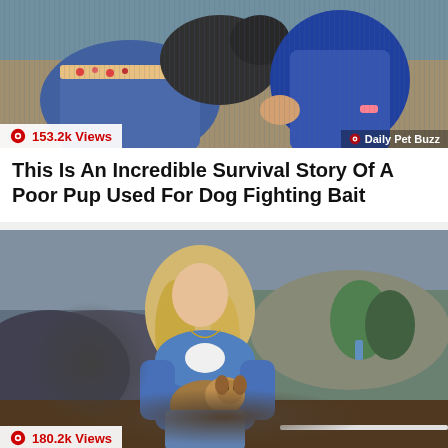[Figure (photo): Thumbnail image showing people with dogs, one wearing jeans with a floral waistband, with a dog being held. Shows '153.2k Views' badge on bottom left and 'Daily Pet Buzz' brand on bottom right.]
This Is An Incredible Survival Story Of A Poor Pup Used For Dog Fighting Bait
[Figure (photo): Thumbnail image showing a blonde woman in a blue hoodie sitting in a dirt trench/excavation holding a small puppy, looking upward. Shows '180.2k Views' badge on bottom left.]
Hope For Paws Performs Dangerous And Daring Rescue Of All Six Puppies Stuck In A...